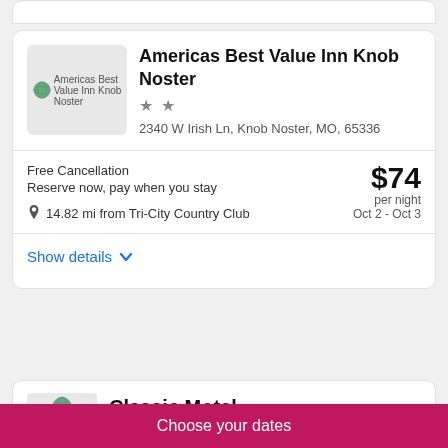Americas Best Value Inn Knob Noster
★★
2340 W Irish Ln, Knob Noster, MO, 65336
Free Cancellation
Reserve now, pay when you stay
14.82 mi from Tri-City Country Club
$74 per night
Oct 2 - Oct 3
Show details
Classic Motel
Choose your dates